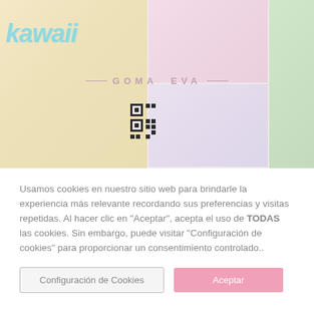[Figure (photo): Banner with kawaii-style craft images: potato chip bag on left, kawaii food crafts in center panels, green pea pod figures on right. 'kawaii' logo text in light blue top-left, 'GOMA EVA' text centered with decorative lines, QR code pattern overlay in center.]
Usamos cookies en nuestro sitio web para brindarle la experiencia más relevante recordando sus preferencias y visitas repetidas. Al hacer clic en "Aceptar", acepta el uso de TODAS las cookies. Sin embargo, puede visitar "Configuración de cookies" para proporcionar un consentimiento controlado..
Configuración de Cookies
Aceptar